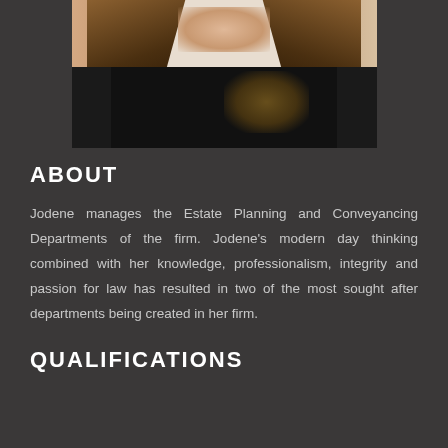[Figure (photo): Portrait photo of Jodene, a woman with long dark brown hair wearing a black top with decorative lace/embroidery detail. Photo cropped to show upper body.]
ABOUT
Jodene manages the Estate Planning and Conveyancing Departments of the firm. Jodene's modern day thinking combined with her knowledge, professionalism, integrity and passion for law has resulted in two of the most sought after departments being created in her firm.
QUALIFICATIONS